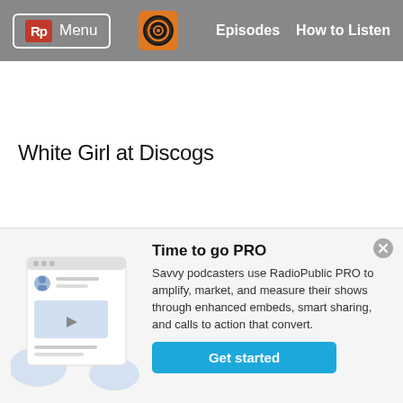Rp Menu | Episodes | How to Listen
White Girl at Discogs
[Figure (illustration): Promotional illustration of a podcast page with embedded media player, profile image, and text lines, on a light blue background]
Time to go PRO
Savvy podcasters use RadioPublic PRO to amplify, market, and measure their shows through enhanced embeds, smart sharing, and calls to action that convert.
Get started